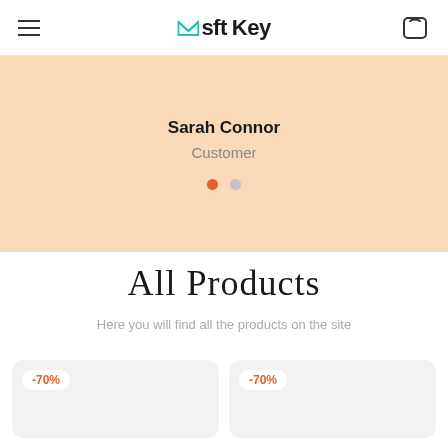Msft Key
Sarah Connor
Customer
All Products
Here you will find all the products on the site
-70%
-70%